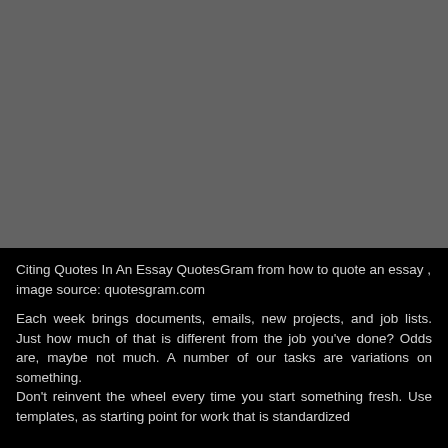[Figure (photo): Gray placeholder image area occupying the top portion of the page]
Citing Quotes In An Essay QuotesGram from how to quote an essay , image source: quotesgram.com
Each week brings documents, emails, new projects, and job lists. Just how much of that is different from the job you've done? Odds are, maybe not much. A number of our tasks are variations on something.
Don't reinvent the wheel every time you start something fresh. Use templates, as starting point for work that is standardized